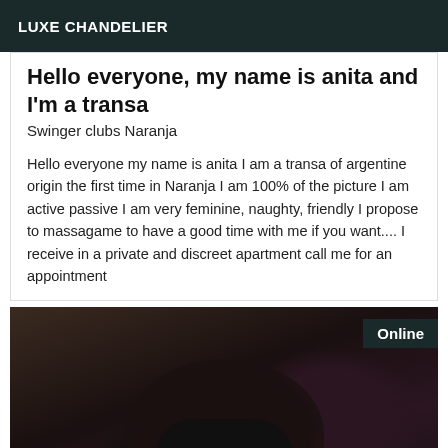LUXE CHANDELIER
Hello everyone, my name is anita and I'm a transa
Swinger clubs Naranja
Hello everyone my name is anita I am a transa of argentine origin the first time in Naranja I am 100% of the picture I am active passive I am very feminine, naughty, friendly I propose to massagame to have a good time with me if you want.... I receive in a private and discreet apartment call me for an appointment
[Figure (photo): Photo of a person wearing a black decorative mask with white dot details, and dark patterned clothing with red polka dots visible. An 'Online' badge appears in the top right corner.]